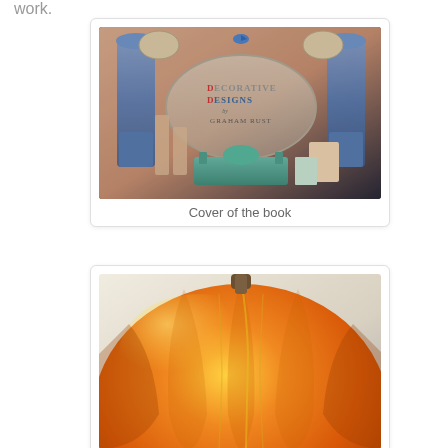work.
[Figure (photo): Book cover of 'Decorative Designs' with ornate blue vases, a teal bench, and various decorative objects on a pink/peach background]
Cover of the book
[Figure (photo): Close-up illustration of a large orange pumpkin on a light background]